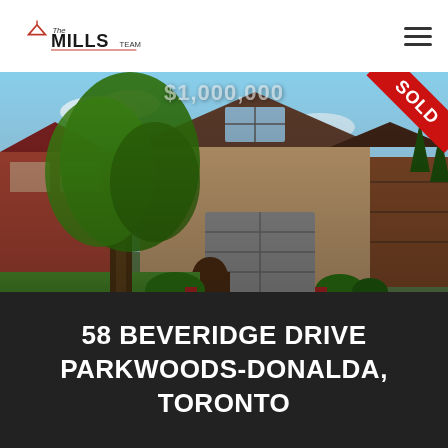The MILLS Team
[Figure (photo): Exterior photo of a brick house with a large tree in the foreground, green lawn, and a paved driveway. A red SOLD ribbon is in the top-right corner. A partially visible price '$1,000,000' is overlaid at the top.]
58 BEVERIDGE DRIVE
PARKWOODS-DONALDA, TORONTO